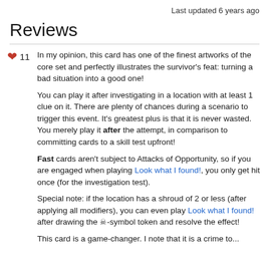Last updated 6 years ago
Reviews
In my opinion, this card has one of the finest artworks of the core set and perfectly illustrates the survivor's feat: turning a bad situation into a good one!

You can play it after investigating in a location with at least 1 clue on it. There are plenty of chances during a scenario to trigger this event. It's greatest plus is that it is never wasted. You merely play it after the attempt, in comparison to committing cards to a skill test upfront!

Fast cards aren't subject to Attacks of Opportunity, so if you are engaged when playing Look what I found!, you only get hit once (for the investigation test).

Special note: if the location has a shroud of 2 or less (after applying all modifiers), you can even play Look what I found! after drawing the skull-symbol token and resolve the effect!

This card is a game-changer. I note that it is a crime to...